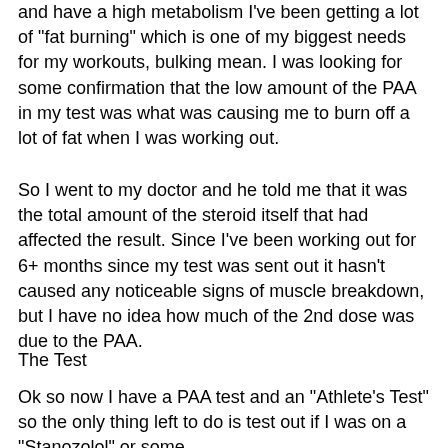and have a high metabolism I've been getting a lot of "fat burning" which is one of my biggest needs for my workouts, bulking mean. I was looking for some confirmation that the low amount of the PAA in my test was what was causing me to burn off a lot of fat when I was working out.
So I went to my doctor and he told me that it was the total amount of the steroid itself that had affected the result. Since I've been working out for 6+ months since my test was sent out it hasn't caused any noticeable signs of muscle breakdown, but I have no idea how much of the 2nd dose was due to the PAA.
The Test
Ok so now I have a PAA test and an "Athlete's Test" so the only thing left to do is test out if I was on a "Stanozolol" or some